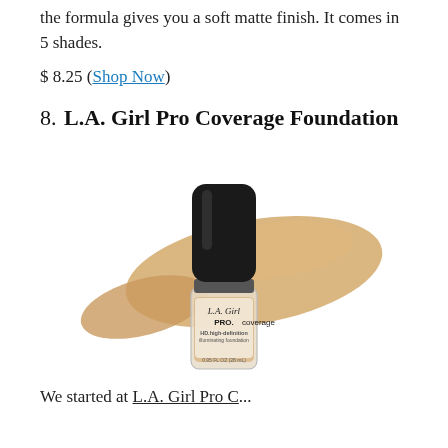the formula gives you a soft matte finish. It comes in 5 shades.
$ 8.25 (Shop Now)
8. L.A. Girl Pro Coverage Foundation
[Figure (photo): Product photo of L.A. Girl PRO.coverage HD high-definition illuminating foundation bottle with a beige/tan foundation swatch behind it]
We started at L.A. Girl Pro C...